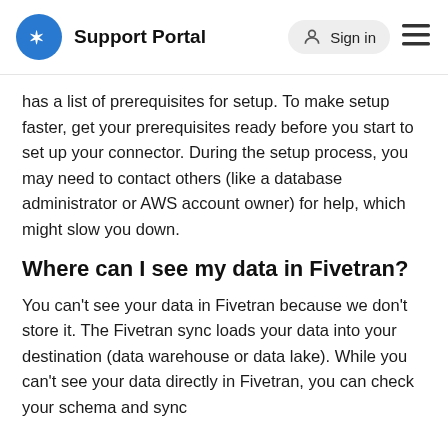Support Portal   Sign in
has a list of prerequisites for setup. To make setup faster, get your prerequisites ready before you start to set up your connector. During the setup process, you may need to contact others (like a database administrator or AWS account owner) for help, which might slow you down.
Where can I see my data in Fivetran?
You can't see your data in Fivetran because we don't store it. The Fivetran sync loads your data into your destination (data warehouse or data lake). While you can't see your data directly in Fivetran, you can check your schema and sync